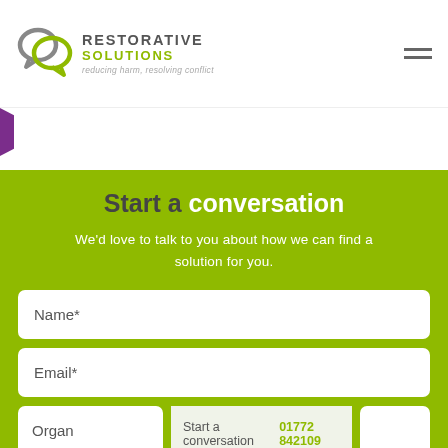[Figure (logo): Restorative Solutions logo with two interlocking speech bubbles in grey and green, company name RESTORATIVE SOLUTIONS in grey/green, tagline: reducing harm, resolving conflict]
Start a conversation
We'd love to talk to you about how we can find a solution for you.
Name*
Email*
Organ
Start a conversation 01772 842109